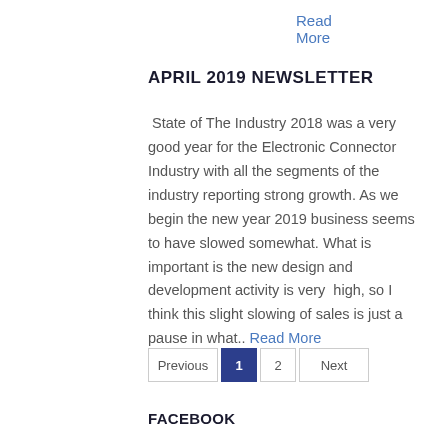Read More
APRIL 2019 NEWSLETTER
State of The Industry 2018 was a very good year for the Electronic Connector Industry with all the segments of the industry reporting strong growth. As we begin the new year 2019 business seems to have slowed somewhat. What is important is the new design and development activity is very high, so I think this slight slowing of sales is just a pause in what.. Read More
Previous 1 2 Next
FACEBOOK